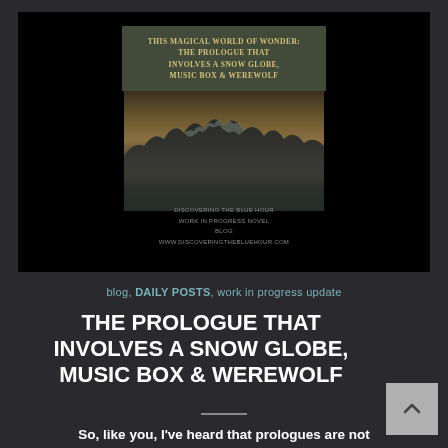[Figure (illustration): Blog post banner image with black background, an olive/green tinted title text box reading 'THIS MAGICAL WORLD OF WONDER: THE PROLOGUE THAT INVOLVES A SNOW GLOBE, MUSIC BOX & WEREWOLF', below which is a dark landscape photograph of rocky terrain with a dim sky, and at the bottom small text reading 'DISCOVERING THE BLUE HOUR WORK IN PROGRESS NOVEL BLOG www.discoveringthebluehour.com']
blog, DAILY POSTS, work in progress update
THE PROLOGUE THAT INVOLVES A SNOW GLOBE, MUSIC BOX & WEREWOLF
So, like you, I've heard that prologues are not